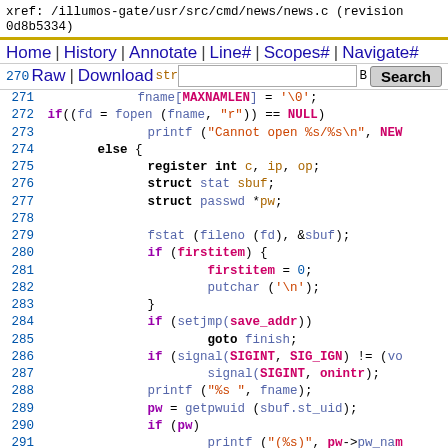xref: /illumos-gate/usr/src/cmd/news/news.c (revision 0d8b5334)
[Figure (screenshot): Source code navigation bar with links: Home | History | Annotate | Line# | Scopes# | Navigate#, Raw | Download, search box and Search button]
270 str
271    fname[MAXNAMLEN] = '\0';
272 if((fd = fopen (fname, "r")) == NULL)
273          printf ("Cannot open %s/%s\n", NEW
274       else {
275          register int c, ip, op;
276          struct stat sbuf;
277          struct passwd *pw;
278
279          fstat (fileno (fd), &sbuf);
280          if (firstitem) {
281                firstitem = 0;
282                putchar ('\n');
283          }
284          if (setjmp(save_addr))
285                goto finish;
286          if (signal(SIGINT, SIG_IGN) != (vo
287                signal(SIGINT, onintr);
288          printf ("%s ", fname);
289          pw = getpwuid (sbuf.st_uid);
290          if (pw)
291                printf ("(%s)", pw->pw_nam
292          else
293                printf (".....");
294          cftime(time_buf, DATE_FMT, &sbuf.